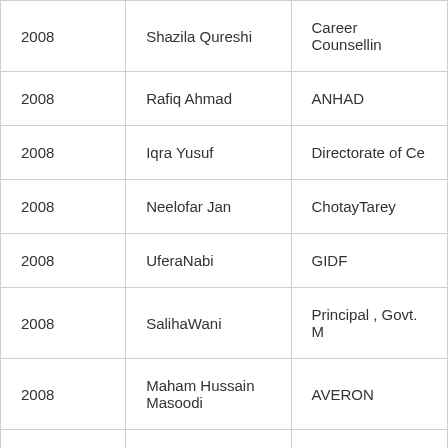| 2008 | Shazila Qureshi | Career Counsellin… |
| 2008 | Rafiq Ahmad | ANHAD |
| 2008 | Iqra Yusuf | Directorate of Ce… |
| 2008 | Neelofar Jan | ChotayTarey |
| 2008 | UferaNabi | GIDF |
| 2008 | SalihaWani | Principal , Govt. M… |
| 2008 | Maham Hussain Masoodi | AVERON |
| 2008 | Shariqa Amin | AVERON |
| 2008 | David Khan Durrani | DON BOSCO Delh… |